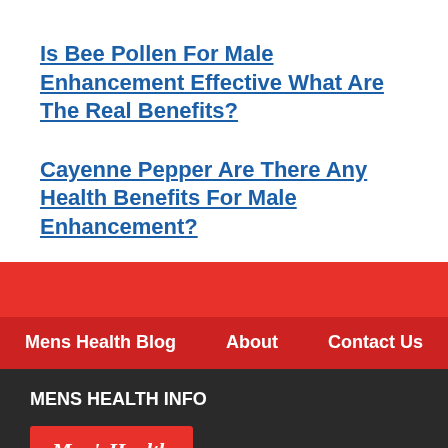Is Bee Pollen For Male Enhancement Effective What Are The Real Benefits?
Cayenne Pepper Are There Any Health Benefits For Male Enhancement?
Mens Health Blog   About   Contact Us
MENS HEALTH INFO
[Figure (logo): Men's Health logo in white italic serif text on red background]